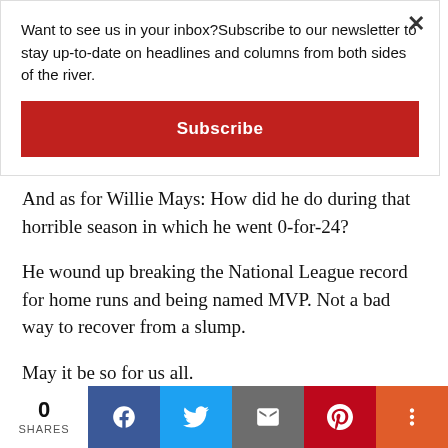Want to see us in your inbox?Subscribe to our newsletter to stay up-to-date on headlines and columns from both sides of the river.
Subscribe
And as for Willie Mays: How did he do during that horrible season in which he went 0-for-24?
He wound up breaking the National League record for home runs and being named MVP. Not a bad way to recover from a slump.
May it be so for us all.
“I Just Wanna Feel Better” is a monthly health-reflection
0 SHARES